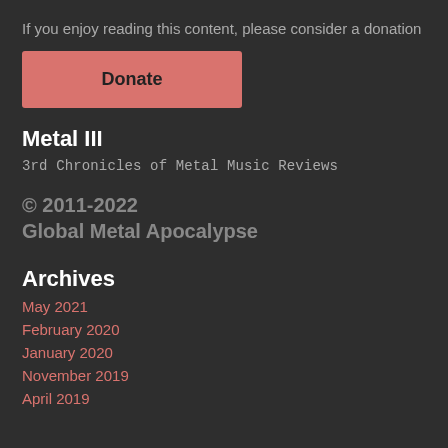If you enjoy reading this content, please consider a donation
[Figure (other): Donate button - a salmon/pink rectangular button with the text 'Donate']
Metal III
3rd Chronicles of Metal Music Reviews
© 2011-2022 Global Metal Apocalypse
Archives
May 2021
February 2020
January 2020
November 2019
April 2019